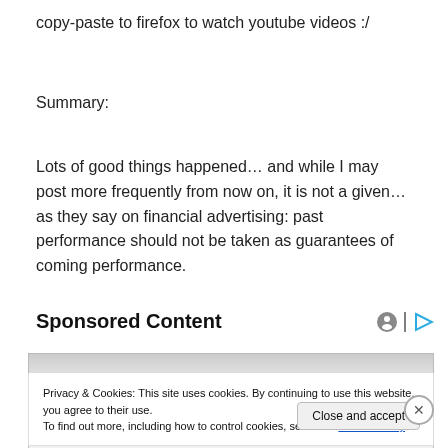copy-paste to firefox to watch youtube videos :/
Summary:
Lots of good things happened… and while I may post more frequently from now on, it is not a given… as they say on financial advertising: past performance should not be taken as guarantees of coming performance.
Sponsored Content
[Figure (screenshot): Sponsored content ad area with gradient gray background]
Privacy & Cookies: This site uses cookies. By continuing to use this website, you agree to their use.
To find out more, including how to control cookies, see here: Cookie Policy
Close and accept